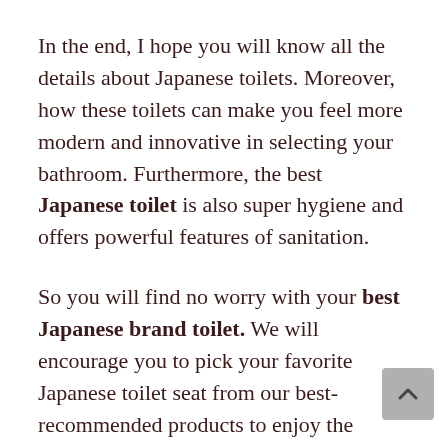In the end, I hope you will know all the details about Japanese toilets. Moreover, how these toilets can make you feel more modern and innovative in selecting your bathroom. Furthermore, the best Japanese toilet is also super hygiene and offers powerful features of sanitation.
So you will find no worry with your best Japanese brand toilet. We will encourage you to pick your favorite Japanese toilet seat from our best-recommended products to enjoy the features with durability. We have a list of 5 to from high to low-end prices. In this way, you all